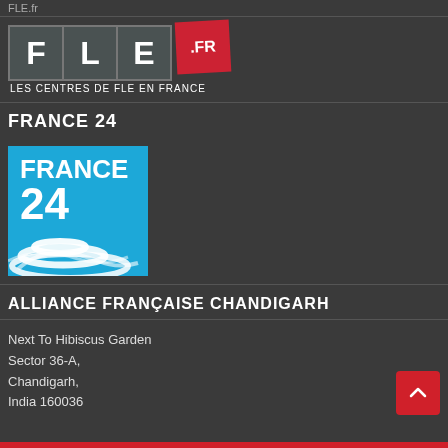FLE.fr
[Figure (logo): FLE.fr logo — three dark grey boxes containing letters F, L, E and a red tilted box with .FR, subtitle: LES CENTRES DE FLE EN FRANCE]
FRANCE 24
[Figure (logo): France 24 logo — blue square with white bold text FRANCE 24 and white swirl graphic beneath]
ALLIANCE FRANÇAISE CHANDIGARH
Next To Hibiscus Garden
Sector 36-A,
Chandigarh,
India 160036